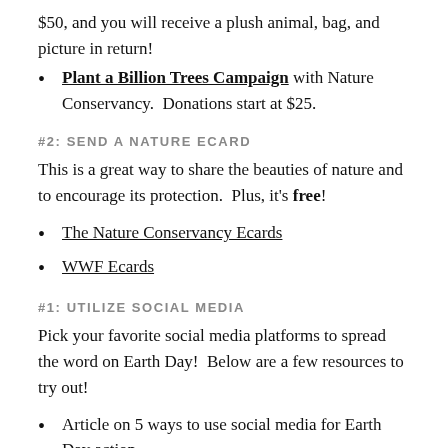$50, and you will receive a plush animal, bag, and picture in return!
Plant a Billion Trees Campaign with Nature Conservancy. Donations start at $25.
#2: SEND A NATURE ECARD
This is a great way to share the beauties of nature and to encourage its protection. Plus, it's free!
The Nature Conservancy Ecards
WWF Ecards
#1: UTILIZE SOCIAL MEDIA
Pick your favorite social media platforms to spread the word on Earth Day! Below are a few resources to try out!
Article on 5 ways to use social media for Earth Day action